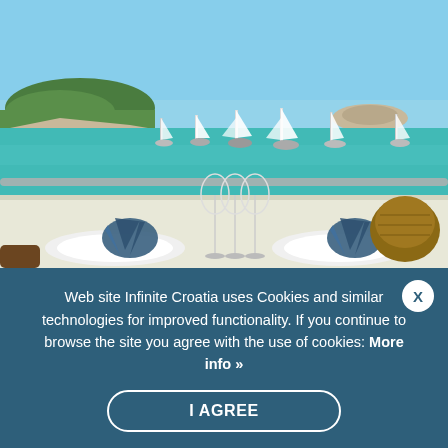[Figure (photo): A waterfront restaurant table set with wine glasses and blue folded napkins on white plates, with sailboats anchored in a turquoise bay and green tree-covered islands in the background under a clear blue sky.]
Web site Infinite Croatia uses Cookies and similar technologies for improved functionality. If you continue to browse the site you agree with the use of cookies: More info »
I AGREE